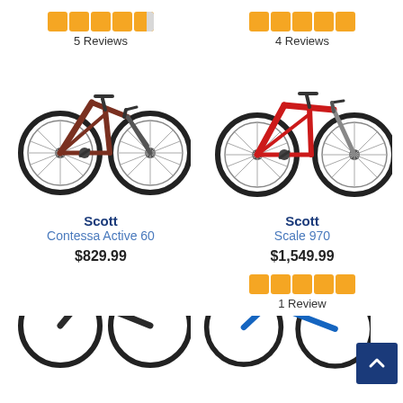[Figure (other): Star rating: 4.5 out of 5, 5 Reviews (left product)]
[Figure (other): Star rating: 5 out of 5, 4 Reviews (right product)]
[Figure (photo): Scott Contessa Active 60 mountain bike, brownish-red color]
[Figure (photo): Scott Scale 970 mountain bike, red color]
Scott
Contessa Active 60
$829.99
Scott
Scale 970
$1,549.99
[Figure (other): Star rating: 5 out of 5, 1 Review (Scott Scale 970)]
[Figure (photo): Partial view of a black mountain bike (bottom left)]
[Figure (photo): Partial view of a blue mountain bike (bottom right)]